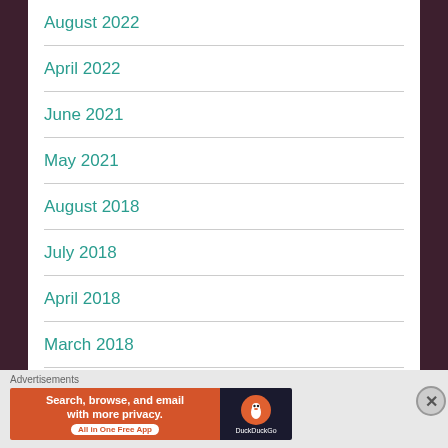August 2022
April 2022
June 2021
May 2021
August 2018
July 2018
April 2018
March 2018
[Figure (screenshot): DuckDuckGo advertisement banner: 'Search, browse, and email with more privacy. All in One Free App' with DuckDuckGo logo on dark background]